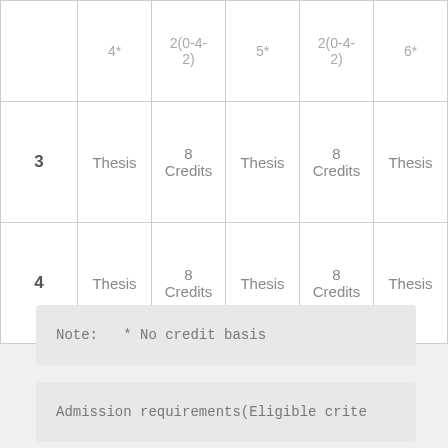|  |  | 4* | 2(0-4-2) | 5* | 2(0-4-2) | 6* |
| --- | --- | --- | --- | --- | --- | --- |
| 3 | Thesis | 8 Credits | Thesis | 8 Credits | Thesis |
| 4 | Thesis | 8 Credits | Thesis | 8 Credits | Thesis |
Note:   * No credit basis
Admission requirements(Eligible crite